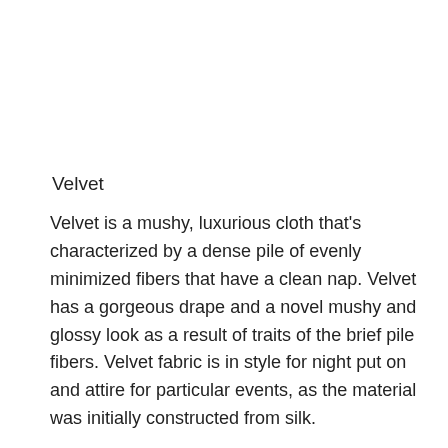Velvet
Velvet is a mushy, luxurious cloth that's characterized by a dense pile of evenly minimized fibers that have a clean nap. Velvet has a gorgeous drape and a novel mushy and glossy look as a result of traits of the brief pile fibers. Velvet fabric is in style for night put on and attire for particular events, as the material was initially constructed from silk.